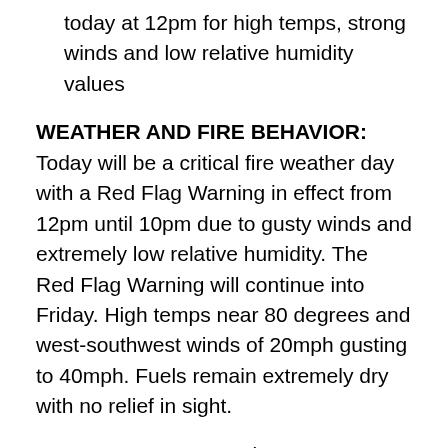today at 12pm for high temps, strong winds and low relative humidity values
WEATHER AND FIRE BEHAVIOR: Today will be a critical fire weather day with a Red Flag Warning in effect from 12pm until 10pm due to gusty winds and extremely low relative humidity. The Red Flag Warning will continue into Friday. High temps near 80 degrees and west-southwest winds of 20mph gusting to 40mph. Fuels remain extremely dry with no relief in sight.
FIRE OPERATIONS: Fire crews finished constructing handline on the north side of the fire near the communications towers on Los Griegos Mountain and Forest Road (FR) 271. Crews will establish hose lines to extinguish hot spots. On the northeast side of the fire, crews will continue to locate and extinguish areas of heat